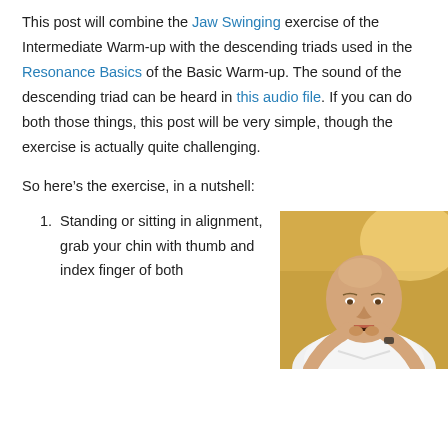This post will combine the Jaw Swinging exercise of the Intermediate Warm-up with the descending triads used in the Resonance Basics of the Basic Warm-up. The sound of the descending triad can be heard in this audio file. If you can do both those things, this post will be very simple, though the exercise is actually quite challenging.
So here’s the exercise, in a nutshell:
Standing or sitting in alignment, grab your chin with thumb and index finger of both
[Figure (photo): A bald man in a white shirt holding his chin with both hands, thumb and index finger, mouth slightly open, against a yellow/gold background wall.]